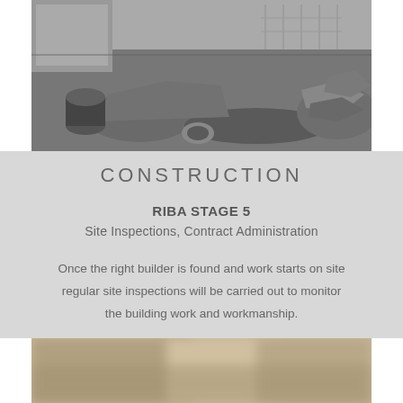[Figure (photo): Black and white photo of a construction site showing excavated ground, rubble, broken concrete/stone piles, construction equipment and fencing in the background]
CONSTRUCTION
RIBA STAGE 5
Site Inspections, Contract Administration
Once the right builder is found and work starts on site regular site inspections will be carried out to monitor the building work and workmanship.
[Figure (photo): Blurred colour photo of a construction site, out of focus warm tones]